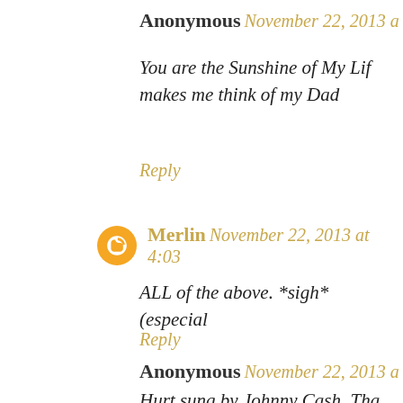Anonymous November 22, 2013 a
You are the Sunshine of My Life makes me think of my Dad
Reply
Merlin November 22, 2013 at 4:03
ALL of the above. *sigh* (especial
Reply
Anonymous November 22, 2013 a
Hurt sung by Johnny Cash. Tha